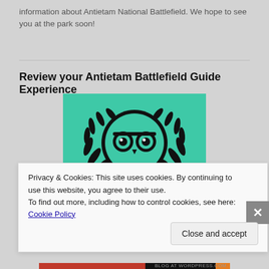information about Antietam National Battlefield. We hope to see you at the park soon!
Review your Antietam Battlefield Guide Experience
[Figure (logo): TripAdvisor Travelers' Choice award badge on green background with owl logo and laurel wreath]
Privacy & Cookies: This site uses cookies. By continuing to use this website, you agree to their use.
To find out more, including how to control cookies, see here: Cookie Policy
Close and accept